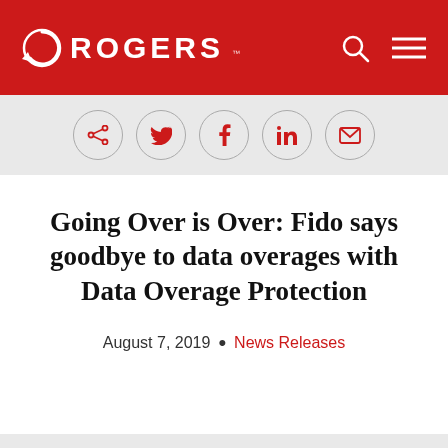ROGERS
[Figure (logo): Rogers logo with circular arrow icon and ROGERS wordmark in white on red background, with search and menu icons on right]
[Figure (infographic): Social sharing bar with circular icon buttons: share, Twitter, Facebook, LinkedIn, Email]
Going Over is Over: Fido says goodbye to data overages with Data Overage Protection
August 7, 2019 • News Releases